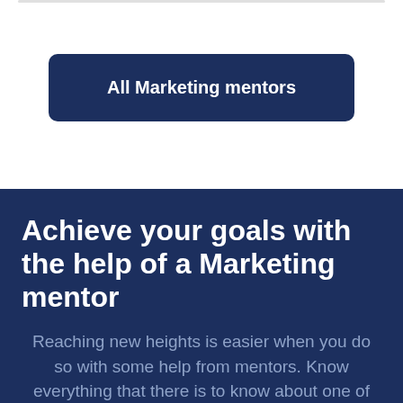[Figure (other): Top white section with a rounded border line at the top and a dark navy button labeled 'All Marketing mentors']
Achieve your goals with the help of a Marketing mentor
Reaching new heights is easier when you do so with some help from mentors. Know everything that there is to know about one of the fastest-growing languages out there